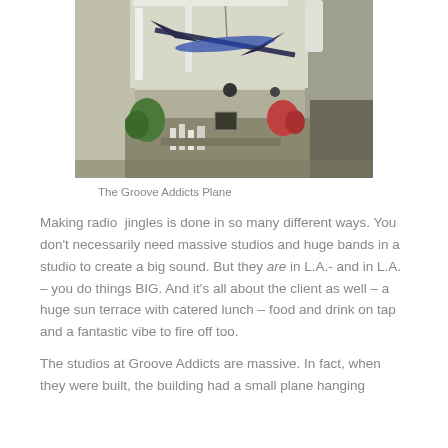[Figure (photo): Interior photo of a studio or office space with a small airplane/plane model hanging from the ceiling, plants, and various decorative objects on shelves below. The space has an industrial-style ceiling with ducts and lighting fixtures.]
The Groove Addicts Plane
Making radio jingles is done in so many different ways. You don't necessarily need massive studios and huge bands in a studio to create a big sound. But they are in L.A.- and in L.A. – you do things BIG. And it's all about the client as well – a huge sun terrace with catered lunch – food and drink on tap and a fantastic vibe to fire off too.
The studios at Groove Addicts are massive. In fact, when they were built, the building had a small plane hanging